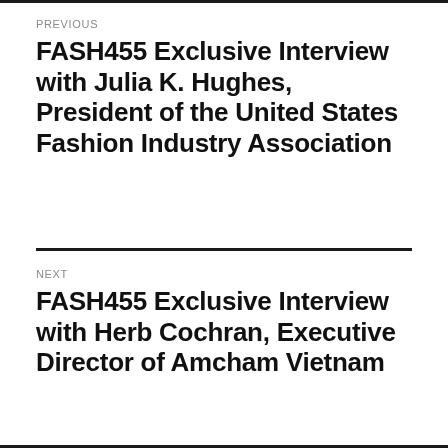PREVIOUS
FASH455 Exclusive Interview with Julia K. Hughes, President of the United States Fashion Industry Association
NEXT
FASH455 Exclusive Interview with Herb Cochran, Executive Director of Amcham Vietnam